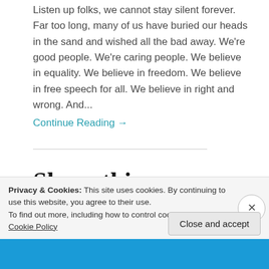Listen up folks, we cannot stay silent forever. Far too long, many of us have buried our heads in the sand and wished all the bad away. We're good people. We're caring people. We believe in equality. We believe in freedom. We believe in free speech for all. We believe in right and wrong. And...
Continue Reading →
Share this:
Privacy & Cookies: This site uses cookies. By continuing to use this website, you agree to their use.
To find out more, including how to control cookies, see here: Cookie Policy